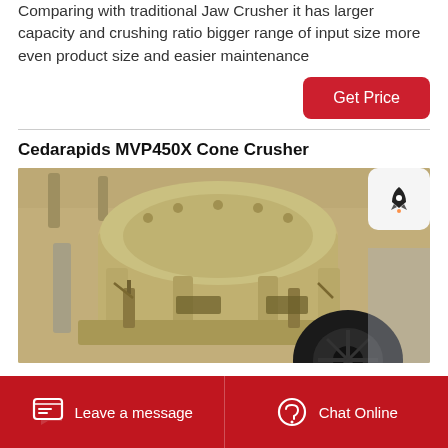Comparing with traditional Jaw Crusher it has larger capacity and crushing ratio bigger range of input size more even product size and easier maintenance
Get Price
Cedarapids MVP450X Cone Crusher
[Figure (photo): Photo of a Cedarapids MVP450X Cone Crusher machine, painted beige/tan, viewed from below showing the cone crusher body, hydraulic cylinders, and a black pulley/wheel at the bottom.]
Leave a message   Chat Online